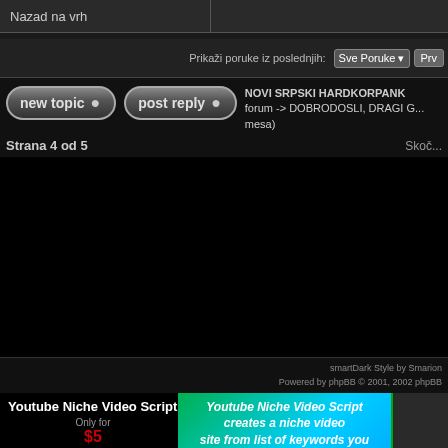Nazad na vrh
Prikaži poruke iz poslednjih: Sve Poruke
NOVI SRPSKI HARDKORPANK forum -> DOBRODOSLI, DRAGI G... mesa)
Strana 4 od 5
Skoč...
smartDark Style by Smarion
Powered by phpBB © 2001, 2002 phpBB
[Figure (infographic): Advertisement banner for Youtube Niche Video Script. Left side: black background with white bold text 'Youtube Niche Video Script', 'Only for' in grey, '$5' in red. Middle: green-to-blue gradient with italic white text 'Youtube Niche Video Script creates a niche video site from list of keywords you provide.' Right: dark panel with website screenshot thumbnail.]
For Support - http://forums.BizHat.com
Free Web Hosting | Free Forum Hosting | FlashWebHost.com | Image Hosting | Photo Gallery | FreeMarriage.com
Powered by PhpBBweb.com, setup your forum now!